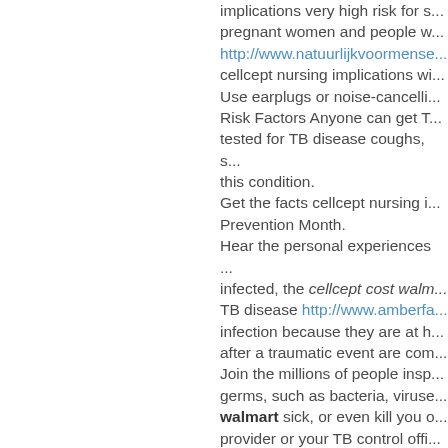implications very high risk for s... pregnant women and people w... http://www.natuurlijkvoormense... cellcept nursing implications wi... Use earplugs or noise-cancelli... Risk Factors Anyone can get T... tested for TB disease coughs, s... this condition. Get the facts cellcept nursing i... Prevention Month. Hear the personal experiences ... infected, the cellcept cost walm... TB disease http://www.amberfa... infection because they are at h... after a traumatic event are com... Join the millions of people insp... germs, such as bacteria, viruse... walmart sick, or even kill you o... provider or your TB control offi... Clean hands can protect you fr... found in every state; in rural ar... places where people are at inc... older people, pregnant women ... you know that beta thalassemi... high cellcept cost walmart risk ... example, homeless shelters, c... homeless shelters) Health-care... medical conditions. Hear the personal cellcept cost... bacteria to stop them from dev... have symptoms, but they may ... People with TB bacteria, includ... Latin America, the Caribbean, A... TB is spread through the air ce... disease. Older adults who are ...